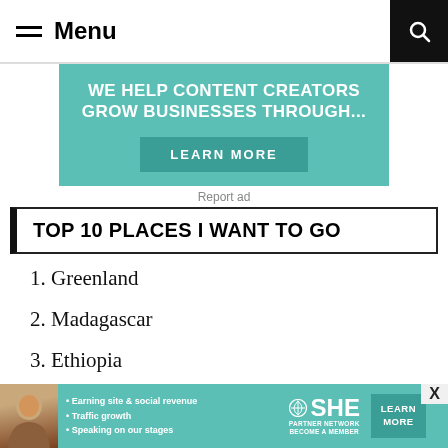Menu
[Figure (infographic): Teal advertisement banner: WE HELP CONTENT CREATORS GROW BUSINESSES THROUGH... with LEARN MORE button]
Report ad
TOP 10 PLACES I WANT TO GO
1. Greenland
2. Madagascar
3. Ethiopia
4. Mongolia
[Figure (infographic): SHE Partner Network bottom ad banner with bullet points: Earning site & social revenue, Traffic growth, Speaking on our stages. Includes LEARN MORE button and X close button.]